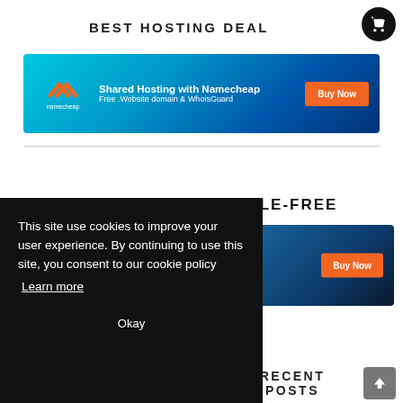BEST HOSTING DEAL
[Figure (screenshot): Namecheap shared hosting banner ad with orange Buy Now button on teal/blue gradient background]
[Figure (screenshot): Second hosting banner ad partially visible on right side]
SSLE-FREE
This site use cookies to improve your user experience. By continuing to use this site, you consent to our cookie policy
Learn more
Okay
RECENT POSTS